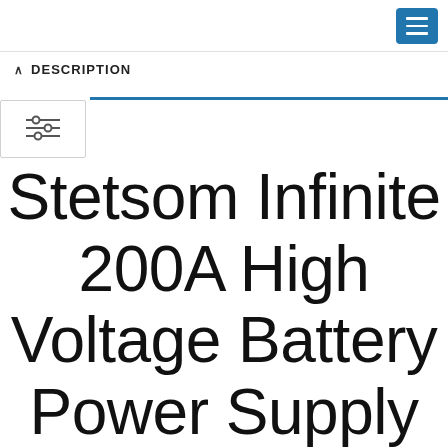DESCRIPTION
Stetsom Infinite 200A High Voltage Battery Power Supply Charger